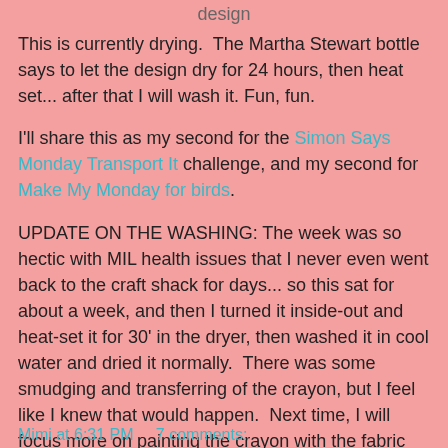design
This is currently drying.  The Martha Stewart bottle says to let the design dry for 24 hours, then heat set... after that I will wash it. Fun, fun.
I'll share this as my second for the Simon Says Monday Transport It challenge, and my second for Make My Monday for birds.
UPDATE ON THE WASHING: The week was so hectic with MIL health issues that I never even went back to the craft shack for days... so this sat for about a week, and then I turned it inside-out and heat-set it for 30' in the dryer, then washed it in cool water and dried it normally.  There was some smudging and transferring of the crayon, but I feel like I knew that would happen.  Next time, I will focus more on painting the crayon with the fabric medium, really blending.  The thing is: that will take away some of that rough look that the crayon on canvas gives.  I'll keep you posted of any future experiments!
Mimi at 6:31 PM    7 comments: